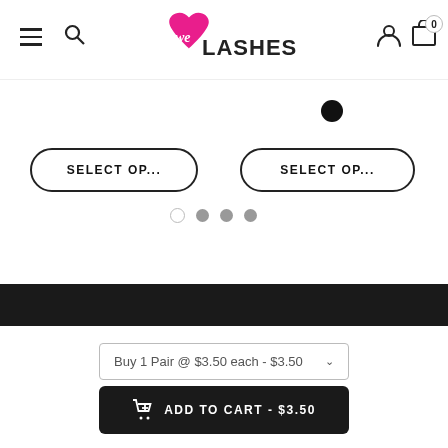[Figure (logo): We Love Lashes logo with pink heart and cursive 'we' text and 'LASHES' in black]
[Figure (screenshot): Navigation bar with hamburger menu, search icon, user icon, and cart with 0 badge]
[Figure (screenshot): Black filled circle indicator dot]
SELECT OP...
SELECT OP...
[Figure (screenshot): Carousel slider dots: one empty circle and three filled grey circles]
Buy 1 Pair @ $3.50 each - $3.50
ADD TO CART - $3.50